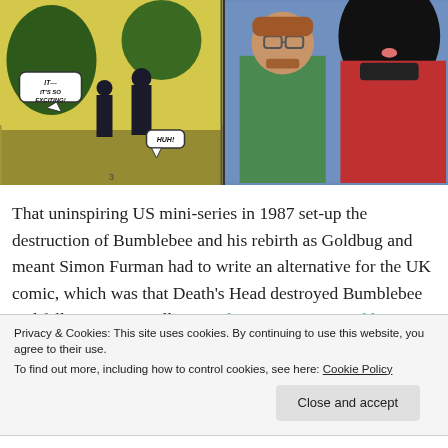[Figure (illustration): Comic book panels showing two figures in a yellow/green background on the left with speech bubbles ('IT— IT'S SO EXCITING!' and 'HUH!'), and two characters (a man with glasses and a woman with dark hair) on a blue background on the right. Page number 3 visible at bottom.]
That uninspiring US mini-series in 1987 set-up the destruction of Bumblebee and his rebirth as Goldbug and meant Simon Furman had to write an alternative for the UK comic, which was that Death's Head destroyed Bumblebee and fellow time-traveller Wreck-Gar reconstructed him (events from the Wanted Galvatron saga). This was necessary to explain why Goldbug would appear in the comic going forwards. And whereas I
Privacy & Cookies: This site uses cookies. By continuing to use this website, you agree to their use.
To find out more, including how to control cookies, see here: Cookie Policy
Close and accept
was in the hopes of generating more readers for the